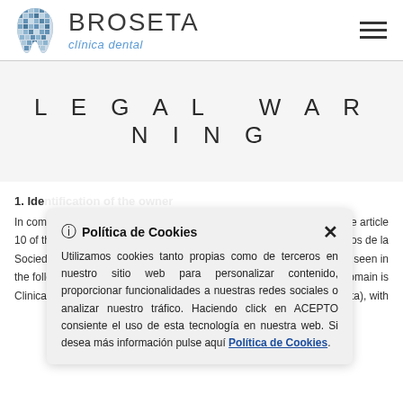[Figure (logo): Broseta Clinica Dental logo with tooth icon and brand name]
LEGAL WARNING
1. Ide
In comp ... e article 10 of th ... os de la Socieda ... seen in the follo ... omain is Clinica D ... eta), with
[Figure (screenshot): Cookie consent popup: Política de Cookies - Utilizamos cookies tanto propias como de terceros en nuestro sitio web para personalizar contenido, proporcionar funcionalidades a nuestras redes sociales o analizar nuestro tráfico. Haciendo click en ACEPTO consiente el uso de esta tecnología en nuestra web. Si desea más información pulse aquí Política de Cookies.]